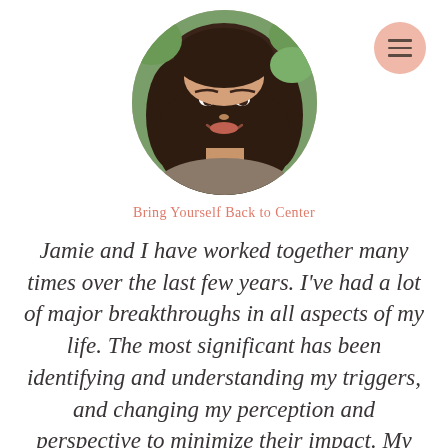[Figure (photo): Circular cropped profile photo of a smiling young woman with long dark wavy hair, outdoors with green foliage in background. A pink circular hamburger menu button is visible in the top-right corner.]
Bring Yourself Back to Center
Jamie and I have worked together many times over the last few years. I've had a lot of major breakthroughs in all aspects of my life. The most significant has been identifying and understanding my triggers, and changing my perception and perspective to minimize their impact. My self-talk has also changed. I'm much kinder to myself and open when I lose…